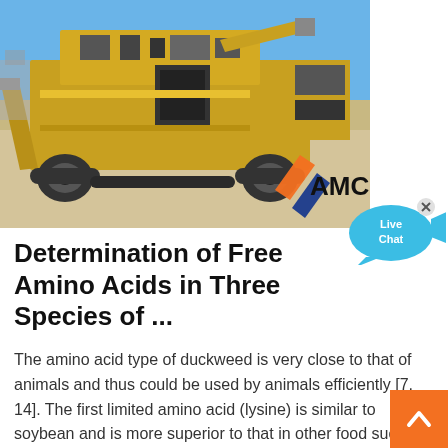[Figure (photo): Yellow heavy construction/mining machinery (crusher or screener) on a sandy outdoor site with blue sky. AMC logo overlaid in bottom-right of the photo.]
[Figure (illustration): Live Chat speech bubble widget in cyan/blue, with an 'x' close button, overlapping the top-right corner.]
Determination of Free Amino Acids in Three Species of ...
The amino acid type of duckweed is very close to that of animals and thus could be used by animals efficiently [7, 14]. The first limited amino acid (lysine) is similar to soybean and is more superior to that in other food such as sorg and maize. There are several methods reported in liter for analysis of free amino acids.